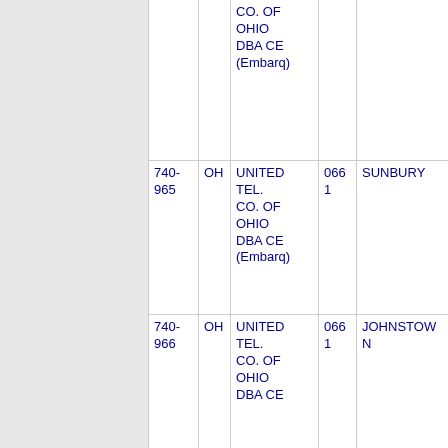| NPA-NXX | ST | Company | OCN | City |
| --- | --- | --- | --- | --- |
|  |  | CO. OF OHIO DBA CE (Embarq) |  |  |
| 740-965 | OH | UNITED TEL. CO. OF OHIO DBA CE (Embarq) | 0661 | SUNBURY |
| 740-966 | OH | UNITED TEL. CO. OF OHIO DBA CE | 0661 | JOHNSTOWN |